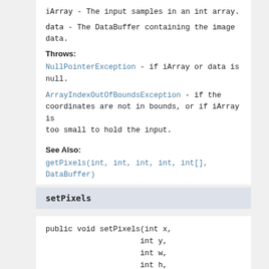iArray - The input samples in an int array.
data - The DataBuffer containing the image data.
Throws:
NullPointerException - if iArray or data is null.
ArrayIndexOutOfBoundsException - if the coordinates are not in bounds, or if iArray is too small to hold the input.
See Also:
getPixels(int, int, int, int, int[], DataBuffer)
setPixels
public void setPixels(int x,
                     int y,
                     int w,
                     int h,